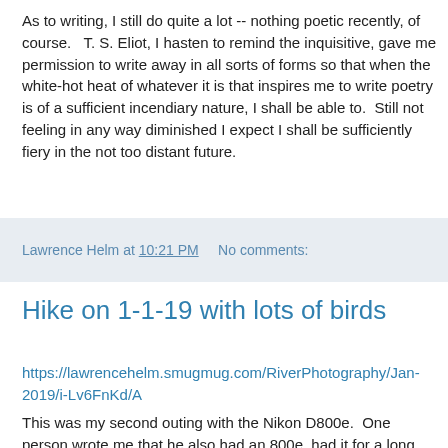As to writing, I still do quite a lot -- nothing poetic recently, of course.   T. S. Eliot, I hasten to remind the inquisitive, gave me permission to write away in all sorts of forms so that when the white-hot heat of whatever it is that inspires me to write poetry is of a sufficient incendiary nature, I shall be able to.  Still not feeling in any way diminished I expect I shall be sufficiently fiery in the not too distant future.
Lawrence Helm at 10:21 PM    No comments:
Hike on 1-1-19 with lots of birds
https://lawrencehelm.smugmug.com/RiverPhotography/Jan-2019/i-Lv6FnKd/A
This was my second outing with the Nikon D800e.  One person wrote me that he also had an 800e, had it for a long